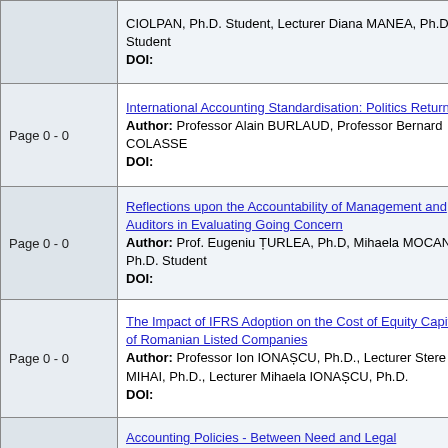| Page | Article Info |
| --- | --- |
| Page 0 - 0 | CIOLPAN, Ph.D. Student, Lecturer Diana MANEA, Ph.D. Student
DOI: |
| Page 0 - 0 | International Accounting Standardisation: Politics Return? (I)
Author: Professor Alain BURLAUD, Professor Bernard COLASSE
DOI: |
| Page 0 - 0 | Reflections upon the Accountability of Management and Auditors in Evaluating Going Concern
Author: Prof. Eugeniu ȚURLEA, Ph.D, Mihaela MOCANU, Ph.D. Student
DOI: |
| Page 0 - 0 | The Impact of IFRS Adoption on the Cost of Equity Capital of Romanian Listed Companies
Author: Professor Ion IONAȘCU, Ph.D., Lecturer Stere MIHAI, Ph.D., Lecturer Mihaela IONAȘCU, Ph.D.
DOI: |
| Page 0 - 0 | Accounting Policies - Between Need and Legal Requirement
Author: Georgeta PETRE, Ph.D., Monica AVRAM, Ph.D. Student, Elisabeta DUINEA, |